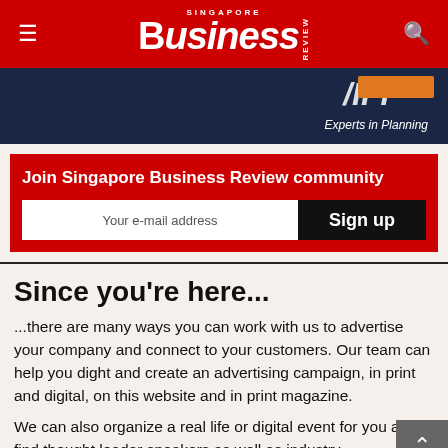Singapore Business Review
[Figure (screenshot): Dark blue banner advertisement with orange button and text 'Experts in Planning']
Join Singapore Business Review community
Your e-mail address
Sign up
Since you're here...
...there are many ways you can work with us to advertise your company and connect to your customers. Our team can help you dight and create an advertising campaign, in print and digital, on this website and in print magazine.
We can also organize a real life or digital event for you and find thought leader speakers as well as industry